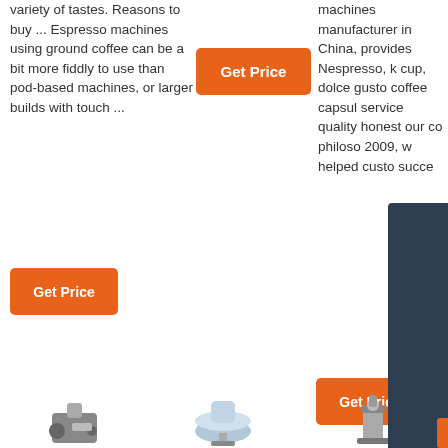variety of tastes. Reasons to buy ... Espresso machines using ground coffee can be a bit more fiddly to use than pod-based machines, or larger builds with touch ...
[Figure (other): Orange 'Get Price' button (top, left-center area)]
[Figure (other): Orange 'Get Price' button (bottom left)]
machines manufacturer in China, provides Nespresso, k cup, dolce gusto coffee capsule service quality honest our company philosophy 2009, we helped customers succeed
[Figure (other): 24/7 Online chat overlay panel with agent photo, 'Click here for free chat!' text, and QUOTATION button]
[Figure (other): Orange 'Get Price' button (right side, bottom)]
[Figure (other): TOP badge with dots icon]
[Figure (other): Bottom row of product/appliance icons]